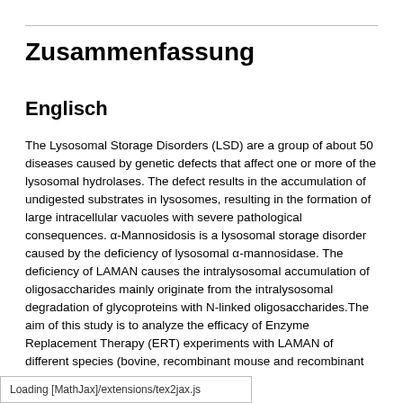Zusammenfassung
Englisch
The Lysosomal Storage Disorders (LSD) are a group of about 50 diseases caused by genetic defects that affect one or more of the lysosomal hydrolases. The defect results in the accumulation of undigested substrates in lysosomes, resulting in the formation of large intracellular vacuoles with severe pathological consequences. α-Mannosidosis is a lysosomal storage disorder caused by the deficiency of lysosomal α-mannosidase. The deficiency of LAMAN causes the intralysosomal accumulation of oligosaccharides mainly originate from the intralysosomal degradation of glycoproteins with N-linked oligosaccharides.The aim of this study is to analyze the efficacy of Enzyme Replacement Therapy (ERT) experiments with LAMAN of different species (bovine, recombinant mouse and recombinant human) in α-mannosidosis knock-out mouse model. Groups of α-mannosidosis mice were injected with a single dose of LAMAN and killed at different times after the injection, with the ance of the injected enzyme in
Loading [MathJax]/extensions/tex2jax.js